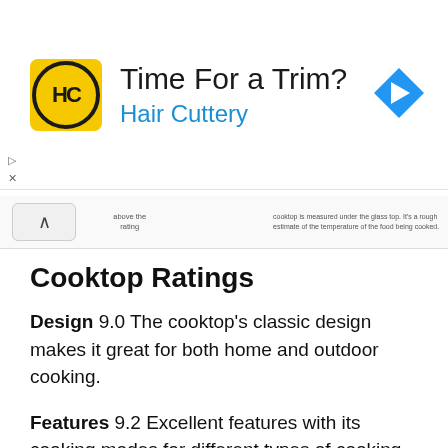[Figure (other): Hair Cuttery advertisement banner with logo, 'Time For a Trim?' headline, and navigation icon]
Cooktop Ratings
Design 9.0 The cooktop's classic design makes it great for both home and outdoor cooking.
Features 9.2 Excellent features with its cooking modes for different types of cooking.
Performance 9.1 Heats pans quickly, no cooking hotspots, and no pan sliding here.